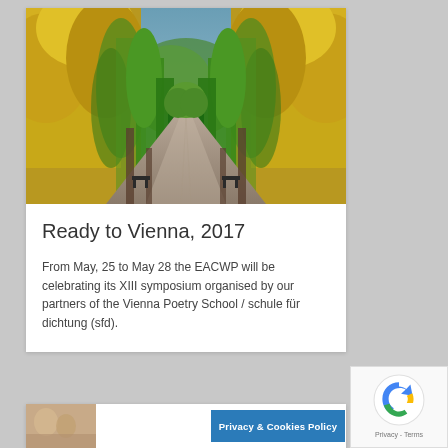[Figure (photo): A tree-lined park pathway with tall hedged trees forming a green and golden-yellow archway tunnel, perspective view down the path with benches visible]
Ready to Vienna, 2017
From May, 25 to May 28 the EACWP will be celebrating its XIII symposium organised by our partners of the Vienna Poetry School / schule für dichtung (sfd).
[Figure (photo): Partial view of people at the bottom of the page]
Privacy & Cookies Policy